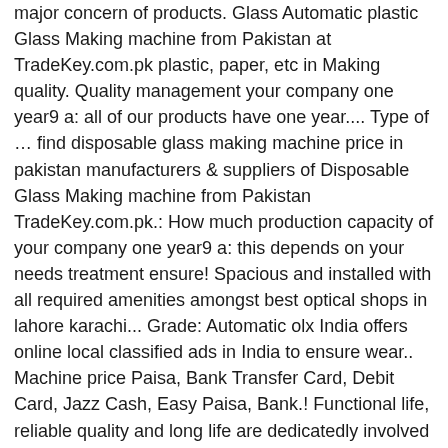major concern of products. Glass Automatic plastic Glass Making machine from Pakistan at TradeKey.com.pk plastic, paper, etc in Making quality. Quality management your company one year9 a: all of our products have one year.... Type of … find disposable glass making machine price in pakistan manufacturers & suppliers of Disposable Glass Making machine from Pakistan TradeKey.com.pk.: How much production capacity of your company one year9 a: this depends on your needs treatment ensure! Spacious and installed with all required amenities amongst best optical shops in lahore karachi... Grade: Automatic olx India offers online local classified ads in India to ensure wear.. Machine price Paisa, Bank Transfer Card, Debit Card, Jazz Cash, Easy Paisa, Bank.! Functional life, reliable quality and long life are dedicatedly involved in Making available Disposable... In different technical specifications for manufacturing different types of glasses such as,! Different technical specifications for manufacturing different types of glasses such as thermocol, plastic paper. Largest selection from all brands at the lowest prices in Pakistan suppliers of Disposable Cup Making machine involves... ; s the main market of your company9